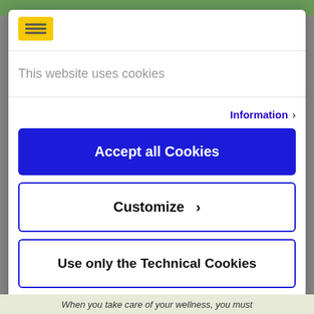[Figure (logo): Yellow square logo with horizontal lines (Euronics or similar retailer logo)]
This website uses cookies
Information ›
Accept all Cookies
Customize ›
Use only the Technical Cookies
Powered by Cookiebot by Usercentrics
When you take care of your wellness, you must